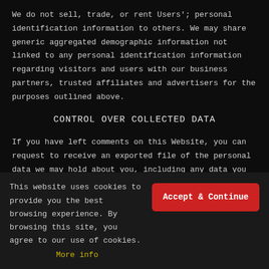We do not sell, trade, or rent Users'; personal identification information to others. We may share generic aggregated demographic information not linked to any personal identification information regarding visitors and users with our business partners, trusted affiliates and advertisers for the purposes outlined above.
CONTROL OVER COLLECTED DATA
If you have left comments on this Website, you can request to receive an exported file of the personal data we may hold about you, including any data you have provided to us. You can also request that we erase any personal data we may hold about you. This does not
This website uses cookies to provide you the best browsing experience. By browsing this site, you agree to our use of cookies. More info